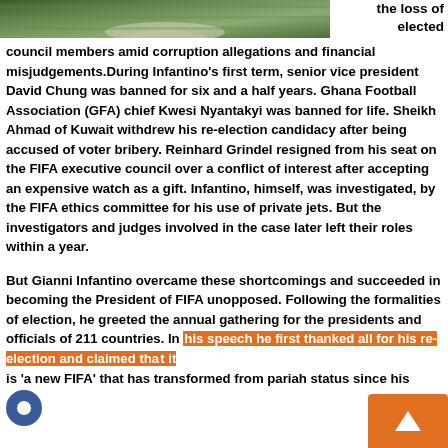[Figure (photo): Green grass/pitch aerial photo at top left]
the loss of elected council members amid corruption allegations and financial misjudgements.During Infantino’s first term, senior vice president David Chung was banned for six and a half years. Ghana Football Association (GFA) chief Kwesi Nyantakyi was banned for life. Sheikh Ahmad of Kuwait withdrew his re-election candidacy after being accused of voter bribery. Reinhard Grindel resigned from his seat on the FIFA executive council over a conflict of interest after accepting an expensive watch as a gift. Infantino, himself, was investigated, by the FIFA ethics committee for his use of private jets. But the investigators and judges involved in the case later left their roles within a year.

But Gianni Infantino overcame these shortcomings and succeeded in becoming the President of FIFA unopposed. Following the formalities of election, he greeted the annual gathering for the presidents and officials of 211 countries. In his speech he first thanked all for his re-election and claimed that it is ‘a new FIFA’ that has transformed from pariah status since his